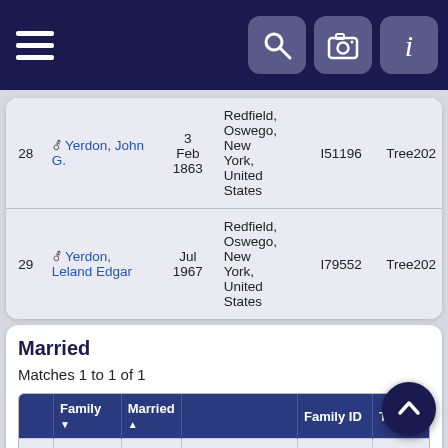Navigation bar with hamburger menu and icons
| # | Name | Date | Place | ID | Tree |
| --- | --- | --- | --- | --- | --- |
| 28 | Yerdon, John G. | 3 Feb 1863 | Redfield, Oswego, New York, United States | I51196 | Tree202 |
| 29 | Yerdon, Leland Edgar | Jul 1967 | Redfield, Oswego, New York, United States | I79552 | Tree202 |
Married
Matches 1 to 1 of 1
|  | Family | Married |  | Family ID | Tree |
| --- | --- | --- | --- | --- | --- |
| 1 | Balcom / Unknown | 1842 | Redfield, Oswego, New York, United States | F1403 | Tree2 |